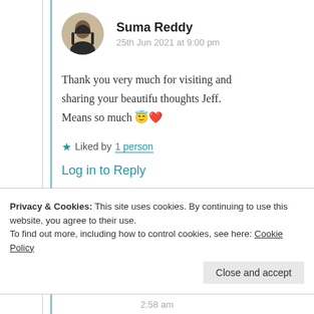Suma Reddy
25th Jun 2021 at 9:00 pm
Thank you very much for visiting and sharing your beautifu thoughts Jeff. Means so much 😇❤️
★ Liked by 1 person
Log in to Reply
Privacy & Cookies: This site uses cookies. By continuing to use this website, you agree to their use. To find out more, including how to control cookies, see here: Cookie Policy
Close and accept
2:58 am